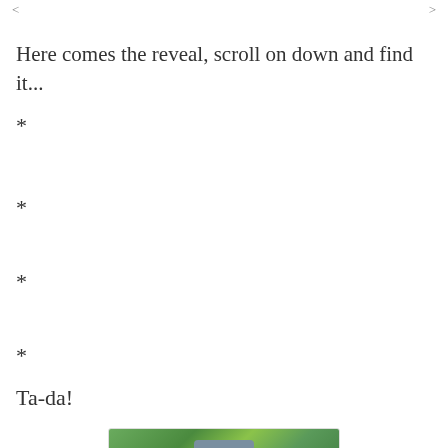< ... >
Here comes the reveal, scroll on down and find it...
*
*
*
*
Ta-da!
[Figure (photo): A photo showing a green outdoor scene with a sign containing letters, partially visible]